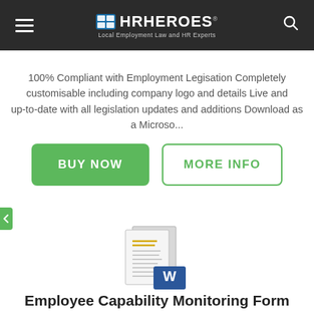HR HEROES — Local Employment Law and HR Experts
100% Compliant with Employment Legisation Completely customisable including company logo and details Live and up-to-date with all legislation updates and additions Download as a Microso...
[Figure (screenshot): BUY NOW green button and MORE INFO outlined green button side by side]
[Figure (illustration): Document/Word file icon representing a downloadable Microsoft Word document]
Employee Capability Monitoring Form